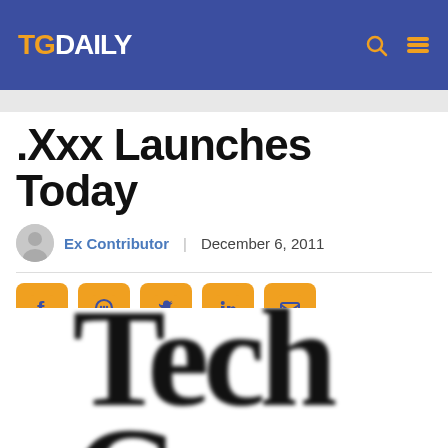TG DAILY
.Xxx Launches Today
Ex Contributor | December 6, 2011
[Figure (illustration): Social media sharing buttons: Facebook, WhatsApp, Twitter, LinkedIn, Email — orange rounded square icons with dark blue symbols]
[Figure (photo): Blurred large serif text reading 'Tech Guru' or similar, partially visible, cropped at bottom of page]